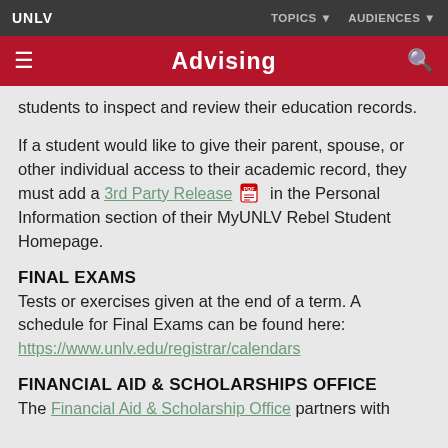UNLV   TOPICS ▼   AUDIENCES ▼
Advising
students to inspect and review their education records.
If a student would like to give their parent, spouse, or other individual access to their academic record, they must add a 3rd Party Release [PDF icon] in the Personal Information section of their MyUNLV Rebel Student Homepage.
FINAL EXAMS
Tests or exercises given at the end of a term. A schedule for Final Exams can be found here: https://www.unlv.edu/registrar/calendars
FINANCIAL AID & SCHOLARSHIPS OFFICE
The Financial Aid & Scholarship Office partners with